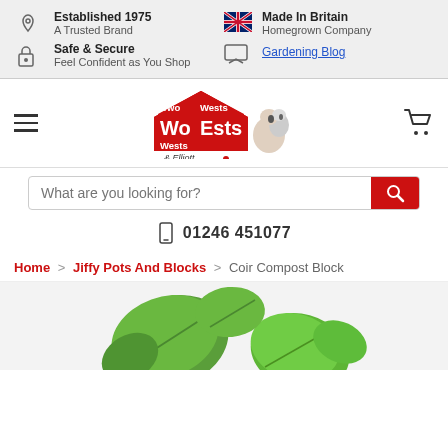Established 1975 | A Trusted Brand | Made In Britain | Homegrown Company | Safe & Secure | Feel Confident as You Shop | Gardening Blog
[Figure (logo): Two Wests & Elliott logo with red house shape and two dogs]
What are you looking for?
01246 451077
Home > Jiffy Pots And Blocks > Coir Compost Block
[Figure (photo): Green plant leaves on a white/grey background]